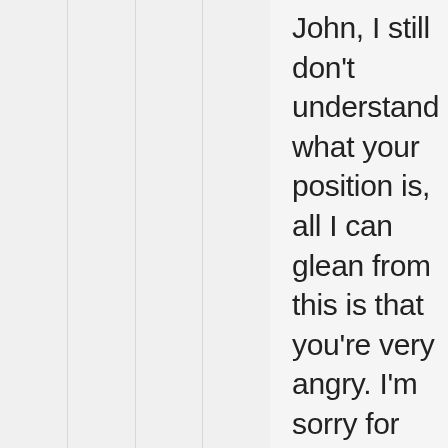John, I still don't understand what your position is, all I can glean from this is that you're very angry. I'm sorry for any role I played in that, I had